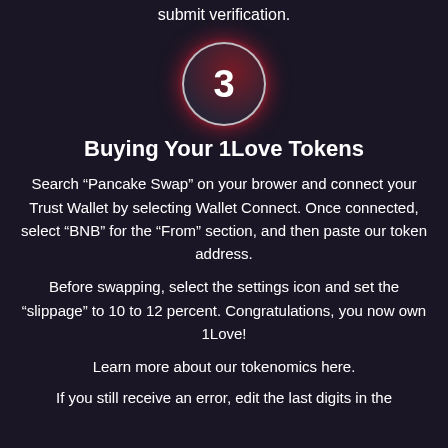submit verification.
[Figure (illustration): A circle with the number 3 inside, styled with a red radial glow and white border on a dark background.]
Buying Your 1Love Tokens
Search “Pancake Swap” on your brower and connect your Trust Wallet by selecting Wallet Connect. Once connected, select “BNB” for the “From” section, and then paste our token address.
Before swapping, select the settings icon and set the “slippage” to 10 to 12 percent. Congratulations, you now own 1Love!
Learn more about our tokenomics here.
If you still receive an error, edit the last digits in the